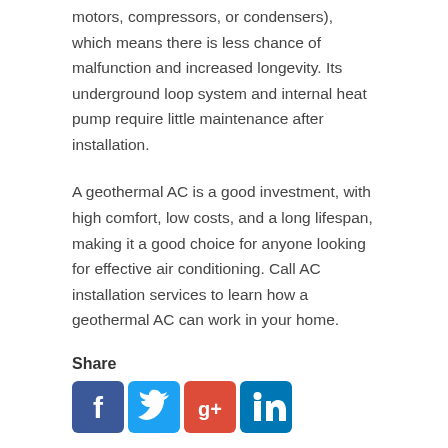motors, compressors, or condensers), which means there is less chance of malfunction and increased longevity. Its underground loop system and internal heat pump require little maintenance after installation.
A geothermal AC is a good investment, with high comfort, low costs, and a long lifespan, making it a good choice for anyone looking for effective air conditioning. Call AC installation services to learn how a geothermal AC can work in your home.
Share
[Figure (other): Social media share buttons for Facebook, Twitter, Google+, and LinkedIn]